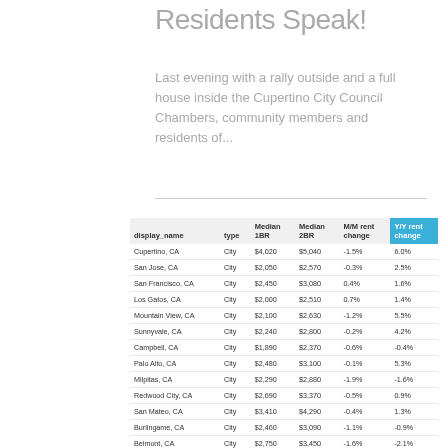Residents Speak!
Last evening with a rally outside and a full house inside the Cupertino City Council Chambers, community members and residents of...
| display_name | type | Median 1BR | Median 2BR | M/M rent change | Y/Y rent change |
| --- | --- | --- | --- | --- | --- |
| Cupertino, CA | City | $4,020 | $5,040 | -1.5% | 6.0% |
| San Jose, CA | City | $2,050 | $2,570 | -0.3% | 2.5% |
| San Francisco, CA | City | $2,450 | $3,080 | 0.4% | 1.6% |
| Los Gatos, CA | City | $2,000 | $2,510 | 0.7% | 1.4% |
| Mountain View, CA | City | $2,100 | $2,630 | -1.2% | 5.5% |
| Sunnyvale, CA | City | $2,240 | $2,800 | -0.2% | 4.2% |
| Campbell, CA | City | $1,890 | $2,370 | -0.6% | -0.4% |
| Palo Alto, CA | City | $2,480 | $3,100 | -0.1% | 5.3% |
| Milpitas, CA | City | $2,290 | $2,880 | -1.9% | -1.6% |
| Redwood City, CA | City | $2,690 | $3,370 | -0.5% | 0.9% |
| San Mateo, CA | City | $3,410 | $4,290 | -0.4% | 1.3% |
| Burlingame, CA | City | $2,460 | $3,090 | -1.1% | -0.9% |
| Belmont, CA | City | $2,750 | $3,450 | -1.6% | -2.1% |